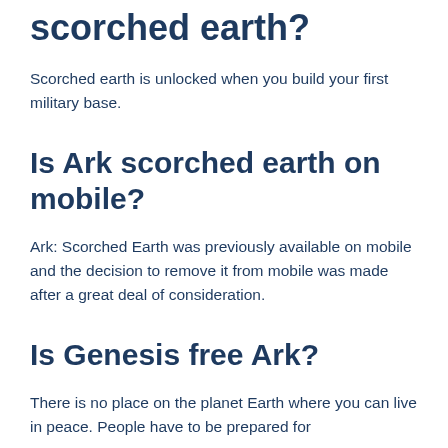scorched earth?
Scorched earth is unlocked when you build your first military base.
Is Ark scorched earth on mobile?
Ark: Scorched Earth was previously available on mobile and the decision to remove it from mobile was made after a great deal of consideration.
Is Genesis free Ark?
There is no place on the planet Earth where you can live in peace. People have to be prepared for